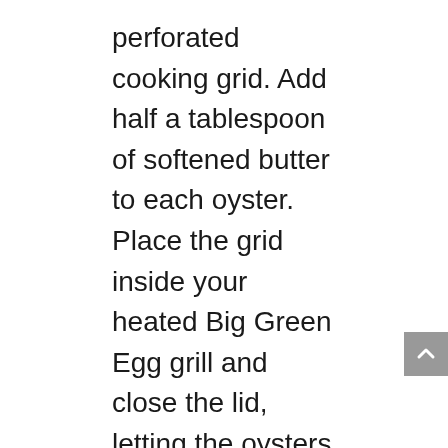perforated cooking grid. Add half a tablespoon of softened butter to each oyster. Place the grid inside your heated Big Green Egg grill and close the lid, letting the oysters cook for about 4 minutes or until bubbly. Serve the oysters garnished with lemon slices and chives.
2) BEER GLAZED BEEF RIBS
These ribs need a long time to cook, but all the waiting will be worth it at